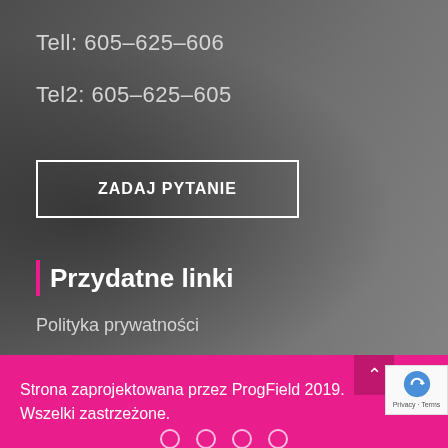Tell: 605-625-606
Tel2: 605-625-605
ZADAJ PYTANIE
Przydatne linki
Polityka prywatności
Strona zaprojektowana przez ProgField 2019. Wszelki zastrzeżone.